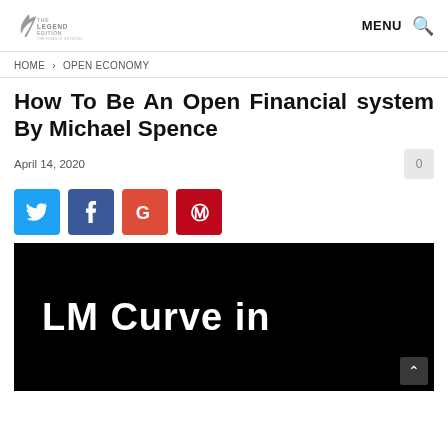THE LEGEND EDITION — MENU
HOME > OPEN ECONOMY
How To Be An Open Financial system By Michael Spence
April 14, 2020
[Figure (screenshot): Social share buttons: Twitter (blue), Facebook (dark blue), Google (red-orange), Pinterest (red)]
[Figure (photo): Black background image with white bold text reading 'LM Curve in']